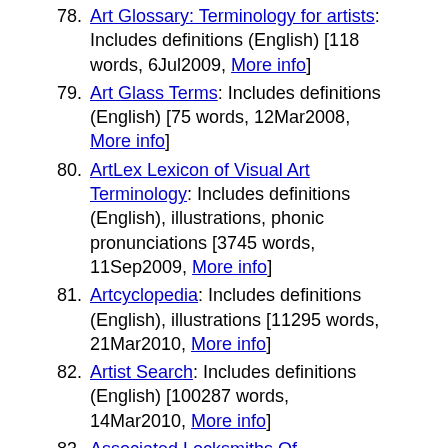78. Art Glossary: Terminology for artists: Includes definitions (English) [118 words, 6Jul2009, More info]
79. Art Glass Terms: Includes definitions (English) [75 words, 12Mar2008, More info]
80. ArtLex Lexicon of Visual Art Terminology: Includes definitions (English), illustrations, phonic pronunciations [3745 words, 11Sep2009, More info]
81. Artcyclopedia: Includes definitions (English), illustrations [11295 words, 21Mar2010, More info]
82. Artist Search: Includes definitions (English) [100287 words, 14Mar2010, More info]
83. Associated Locksmiths Of ...